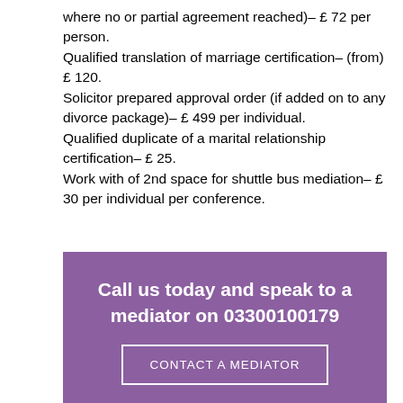where no or partial agreement reached)– £ 72 per person. Qualified translation of marriage certification– (from) £ 120. Solicitor prepared approval order (if added on to any divorce package)– £ 499 per individual. Qualified duplicate of a marital relationship certification– £ 25. Work with of 2nd space for shuttle bus mediation– £ 30 per individual per conference.
Call us today and speak to a mediator on 03300100179
CONTACT A MEDIATOR